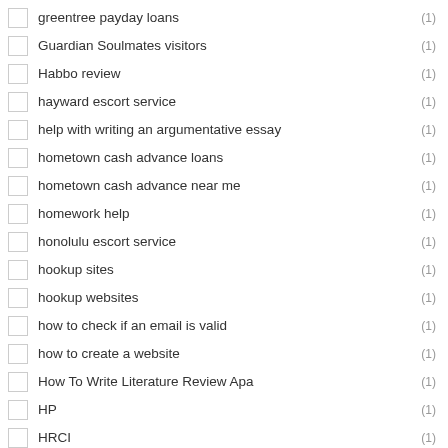greentree payday loans (1)
Guardian Soulmates visitors (1)
Habbo review (1)
hayward escort service (1)
help with writing an argumentative essay (1)
hometown cash advance loans (1)
hometown cash advance near me (1)
homework help (1)
honolulu escort service (1)
hookup sites (1)
hookup websites (1)
how to check if an email is valid (1)
how to create a website (1)
How To Write Literature Review Apa (1)
HP (1)
HRCI (1)
huuuge casino (1)
i need 100 dollars now (1)